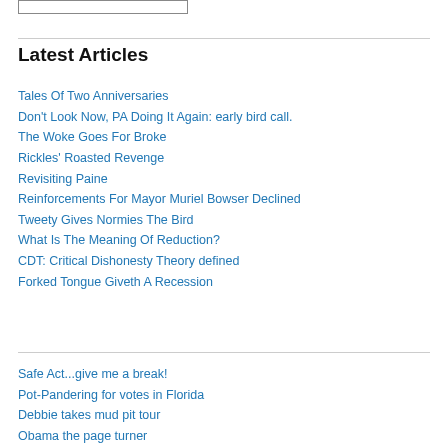Latest Articles
Tales Of Two Anniversaries
Don't Look Now, PA Doing It Again: early bird call.
The Woke Goes For Broke
Rickles' Roasted Revenge
Revisiting Paine
Reinforcements For Mayor Muriel Bowser Declined
Tweety Gives Normies The Bird
What Is The Meaning Of Reduction?
CDT: Critical Dishonesty Theory defined
Forked Tongue Giveth A Recession
Safe Act...give me a break!
Pot-Pandering for votes in Florida
Debbie takes mud pit tour
Obama the page turner